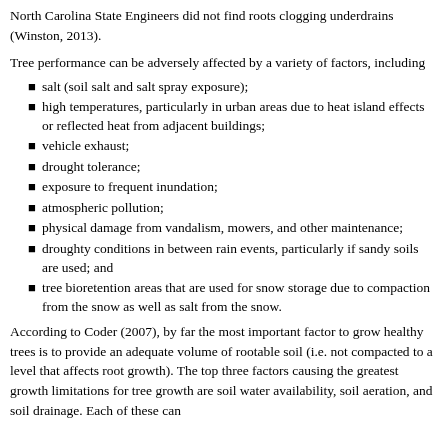North Carolina State Engineers did not find roots clogging underdrains (Winston, 2013).
Tree performance can be adversely affected by a variety of factors, including
salt (soil salt and salt spray exposure);
high temperatures, particularly in urban areas due to heat island effects or reflected heat from adjacent buildings;
vehicle exhaust;
drought tolerance;
exposure to frequent inundation;
atmospheric pollution;
physical damage from vandalism, mowers, and other maintenance;
droughty conditions in between rain events, particularly if sandy soils are used; and
tree bioretention areas that are used for snow storage due to compaction from the snow as well as salt from the snow.
According to Coder (2007), by far the most important factor to grow healthy trees is to provide an adequate volume of rootable soil (i.e. not compacted to a level that affects root growth). The top three factors causing the greatest growth limitations for tree growth are soil water availability, soil aeration, and soil drainage. Each of these can